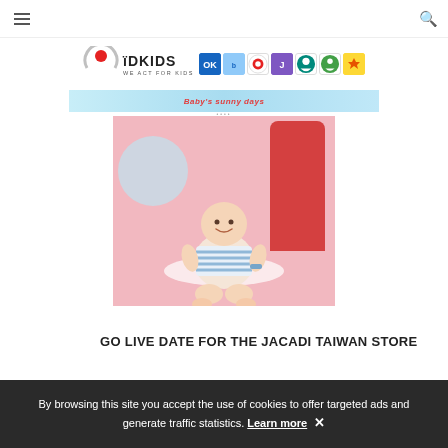IDKids - We Act For Kids (navigation header with hamburger menu and search icon)
[Figure (logo): IDKids logo with circular graphic and brand icons (Decathlon, and other children brands)]
[Figure (photo): Baby sitting on pink background with colorful shapes, text 'Baby's sunny days']
GO LIVE DATE FOR THE JACADI TAIWAN STORE
[Figure (screenshot): Jacadi website screenshot showing search bar and notification banner in Spanish]
By browsing this site you accept the use of cookies to offer targeted ads and generate traffic statistics. Learn more ✕